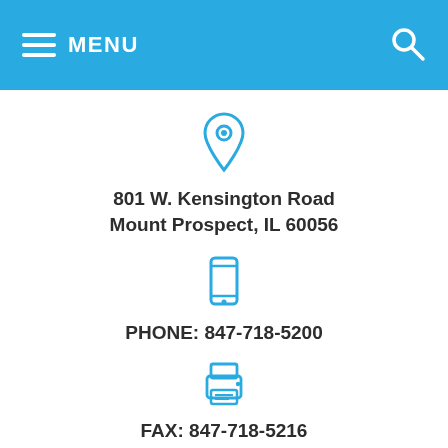MENU
801 W. Kensington Road
Mount Prospect, IL 60056
PHONE: 847-718-5200
FAX: 847-718-5216